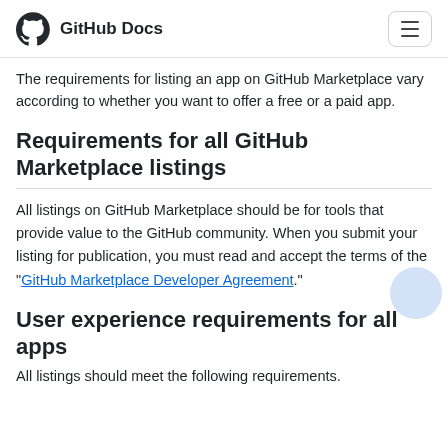GitHub Docs
The requirements for listing an app on GitHub Marketplace vary according to whether you want to offer a free or a paid app.
Requirements for all GitHub Marketplace listings
All listings on GitHub Marketplace should be for tools that provide value to the GitHub community. When you submit your listing for publication, you must read and accept the terms of the "GitHub Marketplace Developer Agreement."
User experience requirements for all apps
All listings should meet the following requirements.